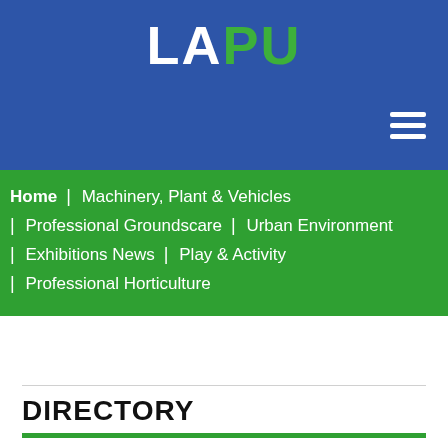[Figure (logo): LAPU logo in white and green on blue background]
Home | Machinery, Plant & Vehicles
| Professional Groundscare | Urban Environment
| Exhibitions News | Play & Activity
| Professional Horticulture
DIRECTORY
Latest Products